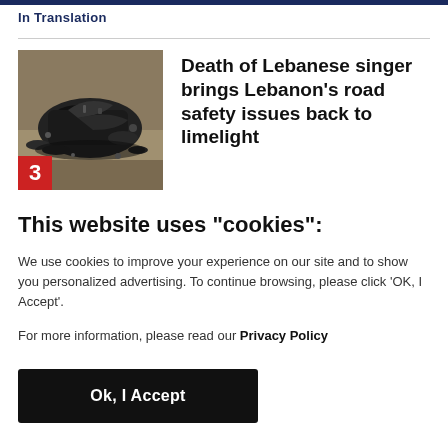In Translation
[Figure (photo): Crashed and burned car wreckage, photographed from above, with red badge showing number 3 in bottom-left corner]
Death of Lebanese singer brings Lebanon’s road safety issues back to limelight
This website uses "cookies":
We use cookies to improve your experience on our site and to show you personalized advertising. To continue browsing, please click ‘OK, I Accept’.
For more information, please read our Privacy Policy
Ok, I Accept